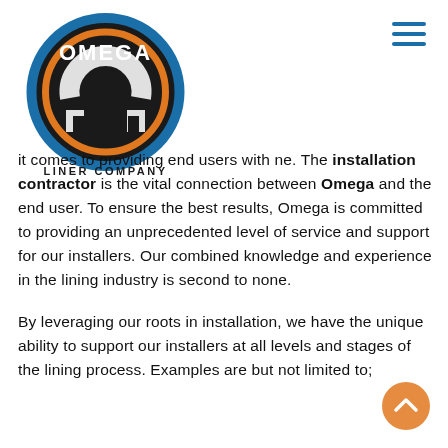[Figure (logo): Omega Liner Company logo — circular design with blue outer ring, orange inner ring, stylized omega/horseshoe symbol in black and white, with 'OMEGA' text in black and 'LINER COMPANY' below in black.]
it comes to providing end users with ne. The installation contractor is the vital connection between Omega and the end user. To ensure the best results, Omega is committed to providing an unprecedented level of service and support for our installers. Our combined knowledge and experience in the lining industry is second to none.
By leveraging our roots in installation, we have the unique ability to support our installers at all levels and stages of the lining process. Examples are but not limited to;